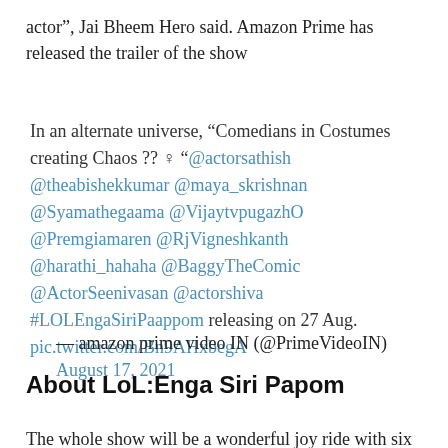actor”, Jai Bheem Hero said. Amazon Prime has released the trailer of the show
In an alternate universe, “Comedians in Costumes creating Chaos ?? ♀ “@actorsathish @theabishekkumar @maya_skrishnan @Syamathegaama @VijaytvpugazhO @Premgiamaren @RjVigneshkanth @harathi_hahaha @BaggyTheComic @ActorSeenivasan @actorshiva #LOLEngaSiriPaappom releasing on 27 Aug. pic.twitter.com/Bn9AHxbegA
— amazon prime video IN (@PrimeVideoIN) August 17, 2021
About LoL:Enga Siri Papom
The whole show will be a wonderful joy ride with six hours of unscripted comedy series will be released as six episodes. The goal of the show is to be the last person laughing in the